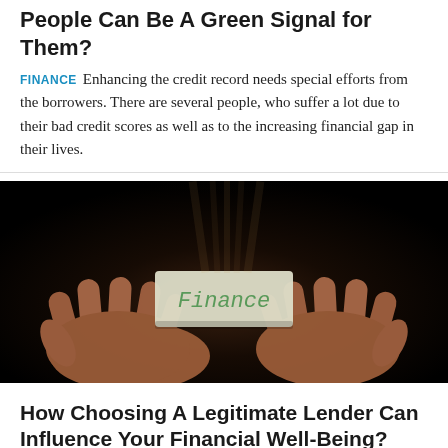How Unsecured Loans for Bad Credit People Can Be A Green Signal for Them?
FINANCE Enhancing the credit record needs special efforts from the borrowers. There are several people, who suffer a lot due to their bad credit scores as well as to the increasing financial gap in their lives.
[Figure (photo): Two hands cupped together holding a small paper card with the word 'Finance' written on it in green handwriting, against a dark black background with subtle warm lighting from above.]
How Choosing A Legitimate Lender Can Influence Your Financial Well-Being?